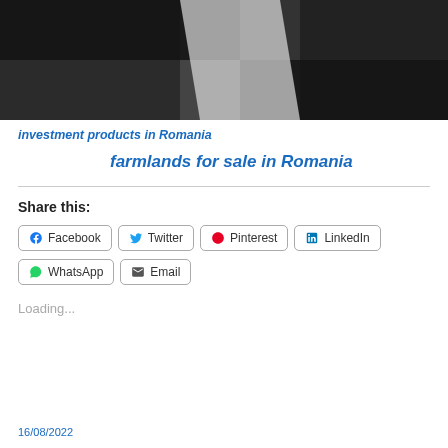[Figure (photo): Black and white checkered/geometric pattern photo banner at top of page]
investment products in Romania
farmlands for sale in Romania
Share this:
Facebook  Twitter  Pinterest  LinkedIn  WhatsApp  Email
Loading...
16/08/2022